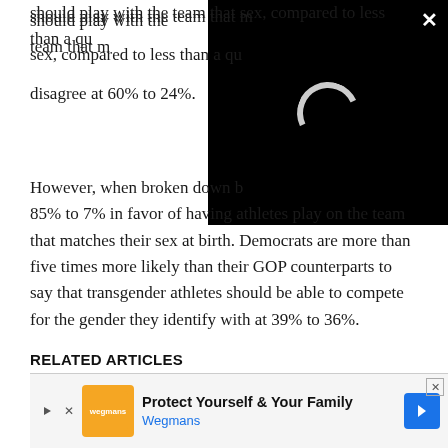should play with the team that matches their biological sex, compared to less than a quarter who disagree at 60% to 24%.
However, when broken down by party, Republicans are 85% to 7% in favor of having athletes play on the team that matches their sex at birth. Democrats are more than five times more likely than their GOP counterparts to say that transgender athletes should be able to compete for the gender they identify with at 39% to 36%.
RELATED ARTICLES
[Figure (screenshot): Video overlay on black background with loading spinner and X close button]
[Figure (screenshot): Advertisement bar: Wegmans ad with orange logo, text 'Protect Yourself & Your Family', blue arrow button, X close icon]